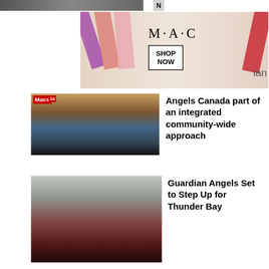[Figure (screenshot): Top partial image strip with 'N' label at right]
[Figure (photo): MAC Cosmetics advertisement banner showing colorful lipsticks with MAC logo and SHOP NOW button]
[Figure (photo): Thumbnail image showing Macs tag, taxi and people for article about Guardian Angels Canada]
Angels Canada part of an integrated community-wide approach
[Figure (photo): Thumbnail image of two men in Guardian Angels red berets and white/red jackets]
Guardian Angels Set to Step Up for Thunder Bay
[Figure (screenshot): Black video player overlay panel showing a loading circle spinner]
[Figure (screenshot): 22 Words advertisement showing '37 BEAUTY PRODUCTS WITH SUCH GOOD REVIEWS YOU MIGHT' headline with CLOSE button]
[Figure (screenshot): Macy's advertisement showing 'KISS BORING LIPS GOODBYE' text with SHOP NOW button and Macy's star logo]